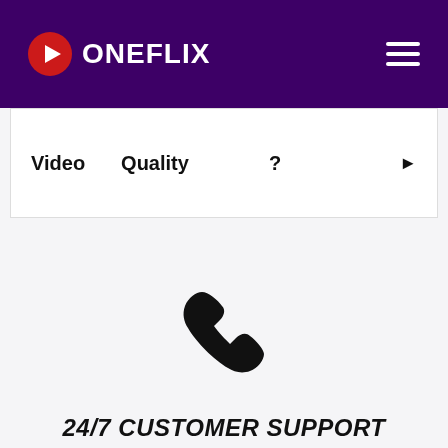ONEFLIX
Video   Quality   ?   ▶
[Figure (illustration): Black telephone/phone handset icon]
24/7 CUSTOMER SUPPORT
Live Chat